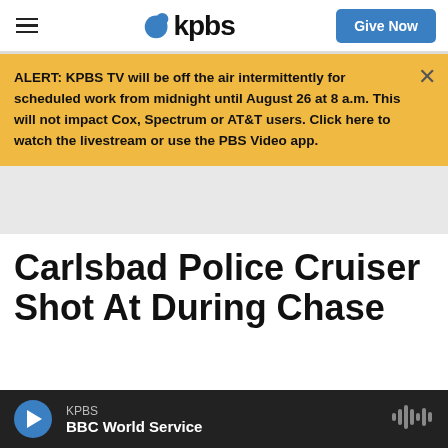KPBS — Give Now
ALERT: KPBS TV will be off the air intermittently for scheduled work from midnight until August 26 at 8 a.m. This will not impact Cox, Spectrum or AT&T users. Click here to watch the livestream or use the PBS Video app.
Carlsbad Police Cruiser Shot At During Chase
KPBS — BBC World Service